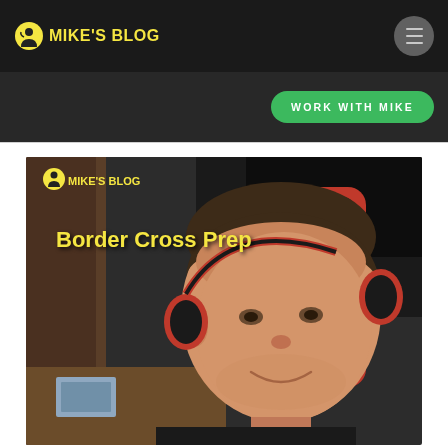MIKE'S BLOG
WORK WITH MIKE
[Figure (photo): Blog post thumbnail showing a man wearing red and black headphones, smiling at the camera, sitting indoors. The thumbnail has an overlay with 'MIKE'S BLOG' logo and the text 'Border Cross Prep' in yellow bold font.]